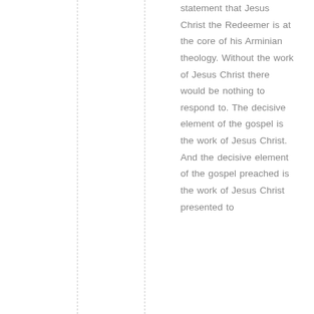statement that Jesus Christ the Redeemer is at the core of his Arminian theology. Without the work of Jesus Christ there would be nothing to respond to. The decisive element of the gospel is the work of Jesus Christ. And the decisive element of the gospel preached is the work of Jesus Christ presented to